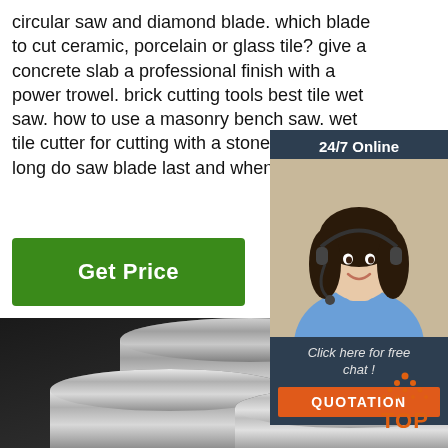circular saw and diamond blade. which blade to cut ceramic, porcelain or glass tile? give a concrete slab a professional finish with a power trowel. brick cutting tools best tile wet saw. how to use a masonry bench saw. wet tile cutter for cutting with a stone saw. how long do saw blade last and when ...
Get Price
[Figure (infographic): Customer service chat widget with woman wearing headset, '24/7 Online' header, 'Click here for free chat!' text, and orange QUOTATION button]
[Figure (photo): Photo of shiny steel/metal round rods or bars arranged in a pile, dark background]
[Figure (infographic): Orange TOP badge with dots forming a triangle shape in the lower right corner]